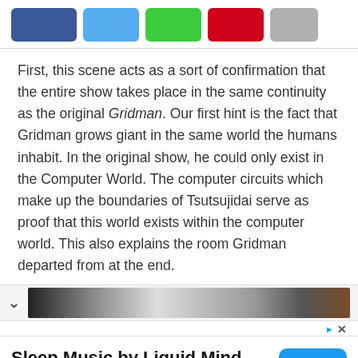[Figure (other): Row of five colored rectangular buttons: dark blue, light blue, green, red, gray]
First, this scene acts as a sort of confirmation that the entire show takes place in the same continuity as the original Gridman. Our first hint is the fact that Gridman grows giant in the same world the humans inhabit. In the original show, he could only exist in the Computer World. The computer circuits which make up the boundaries of Tsutsujidai serve as proof that this world exists within the computer world. This also explains the room Gridman departed from at the end.
[Figure (screenshot): A horizontal scrollable image strip with a chevron/arrow icon and a dark preview thumbnail image]
[Figure (other): Advertisement banner: 'Sleep Music by Liquid Mind' with Open button and subtitle 'Sleep Music Free MP3's Liquid Mind®']